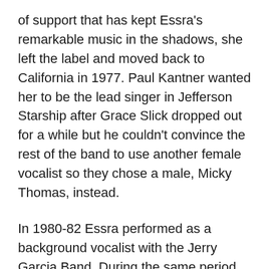of support that has kept Essra's remarkable music in the shadows, she left the label and moved back to California in 1977. Paul Kantner wanted her to be the lead singer in Jefferson Starship after Grace Slick dropped out for a while but he couldn't convince the rest of the band to use another female vocalist so they chose a male, Micky Thomas, instead.
In 1980-82 Essra performed as a background vocalist with the Jerry Garcia Band. During the same period she co-wrote “Haze” with Bobby Weir and his band “Bobby and the Midnights” for their Atlantic release. Also, Essra has collaborated with Al Jarreau, Bonnie Bramlett, Mark McEntee of the DiVinyls, Eric Bazilian, Al Stewart and Narada Michael Walden. She sang and recorded with